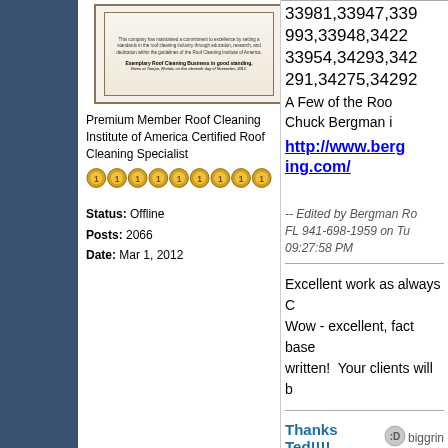[Figure (illustration): Certificate/award image for Roof Cleaning Institute of America with decorative border and text]
Premium Member Roof Cleaning Institute of America Certified Roof Cleaning Specialist
[Figure (illustration): Row of 9 gold star/coin rating icons]
Status: Offline
Posts: 2066
Date: Mar 1, 2012
33981,33947,339
993,33948,3422
33954,34293,342
291,34275,34292
A Few of the Roo
Chuck Bergman i
http://www.berg
ing.com/
-- Edited by Bergman Ro
FL 941-698-1959 on Tu
09:27:58 PM
Excellent work as always C
Wow - excellent, fact base
written!  Your clients will b
Thanks Ted!!!!